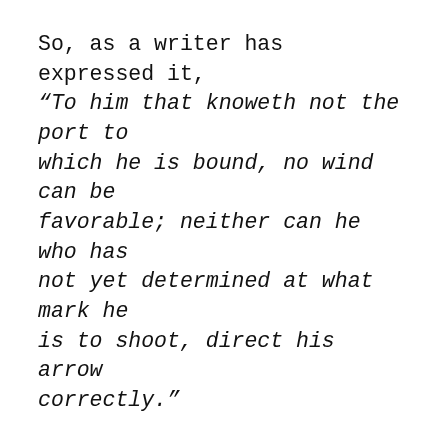So, as a writer has expressed it, “To him that knoweth not the port to which he is bound, no wind can be favorable; neither can he who has not yet determined at what mark he is to shoot, direct his arrow correctly.”
Indecision is a frequent cause of the fear. People hesitate to take a step one way or the other for fear that they might do the wrong thing, and this spirit of irresolution and hesitation often leads them into the